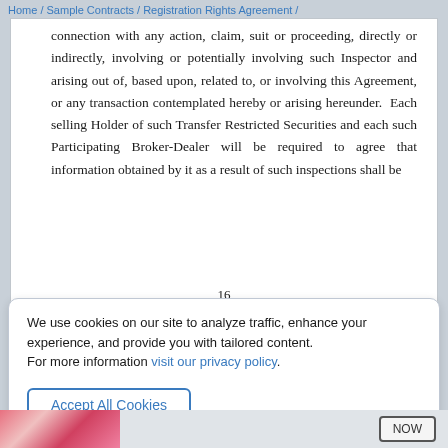Home / Sample Contracts / Registration Rights Agreement /
connection with any action, claim, suit or proceeding, directly or indirectly, involving or potentially involving such Inspector and arising out of, based upon, related to, or involving this Agreement, or any transaction contemplated hereby or arising hereunder.  Each selling Holder of such Transfer Restricted Securities and each such Participating Broker-Dealer will be required to agree that information obtained by it as a result of such inspections shall be
16
We use cookies on our site to analyze traffic, enhance your experience, and provide you with tailored content.
For more information visit our privacy policy.
Accept All Cookies